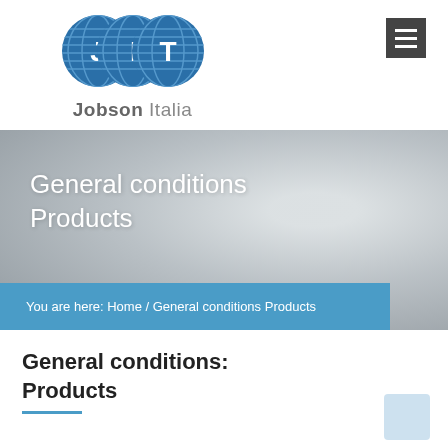[Figure (logo): Jobson Italia logo: three overlapping blue globe circles with J, I, T letters in white, with text 'Jobson Italia' below]
[Figure (screenshot): Hamburger menu button (dark grey square with three white horizontal lines) in top right corner]
General conditions Products
You are here: Home / General conditions Products
General conditions: Products